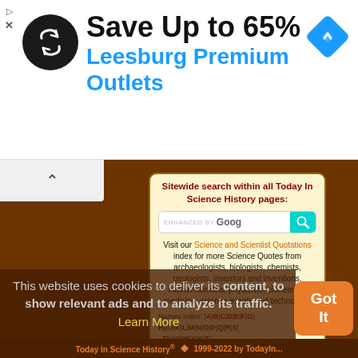[Figure (screenshot): Advertisement banner: black circular logo with arrows icon, text 'Save Up to 65%' in bold black, 'Leesburg Premium Outlets' in blue, and a blue navigation diamond icon on the right]
Sitewide search within all Today In Science History pages:
[Figure (screenshot): Google search bar with 'ENHANCED BY Goog' placeholder text and cyan search button with magnifying glass icon]
Visit our Science and Scientist Quotations index for more Science Quotes from archaeologists, biologists, chemists, geologists, inventors and inventions, mathematicians, physicists, pioneers in medicine, science events and technology.
Names index: | A | B | C | D | E | F | G | H | I | J | K | L | M | N | O | P | Q | R | S | T | U | V | W | X | Y | Z |
Categories index: | 1 | 2 | A | B | C | D | E | F | G | H | I | J | K | L | M | N | O | P | Q | R | S | T | U | V | W | X | Y | Z |
This website uses cookies to deliver its content, to show relevant ads and to analyze its traffic. Learn More
Today in Science History® ◆ 1999-2022 by TodayIn...